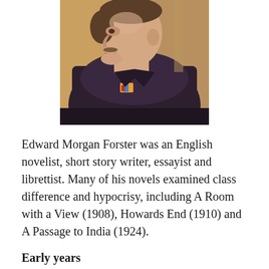[Figure (illustration): Oil painting portrait of E.M. Forster, showing a middle-aged man in three-quarter profile facing left, wearing a dark coat with fur or heavy fabric trim, with a small colorful detail at the chest. Painted in impressionistic style with muted browns and purples.]
Edward Morgan Forster was an English novelist, short story writer, essayist and librettist. Many of his novels examined class difference and hypocrisy, including A Room with a View (1908), Howards End (1910) and A Passage to India (1924).
Early years
Born in London in 1879, at a young age Forster